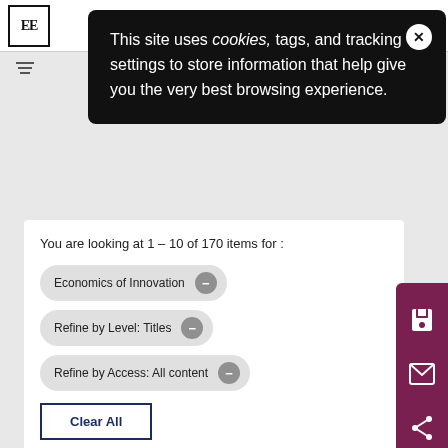[Figure (screenshot): Top navigation bar with EE logo, teal person icon, and hamburger menu]
[Figure (screenshot): Cookie consent popup overlay with close button]
This site uses cookies, tags, and tracking settings to store information that help give you the very best browsing experience.
You are looking at 1 – 10 of 170 items for :
Economics of Innovation
Refine by Level: Titles
Refine by Access: All content
Clear All
Modify Search